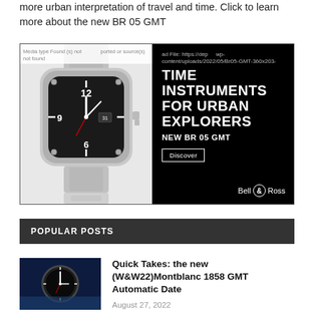more urban interpretation of travel and time. Click to learn more about the new BR 05 GMT
[Figure (photo): Bell & Ross BR 05 GMT watch advertisement. Left side shows a stainless steel watch with black dial, right side shows black background with text: TIME INSTRUMENTS FOR URBAN EXPLORERS / NEW BR 05 GMT / Discover button / Bell & Ross logo. Error overlays visible: 'Media type Found (s) not found' and file path text.]
POPULAR POSTS
[Figure (photo): Thumbnail image of a watch with dark blue background, Montblanc watch dial visible]
Quick Takes: the new (W&W22)Montblanc 1858 GMT Automatic Date
August 27, 2022